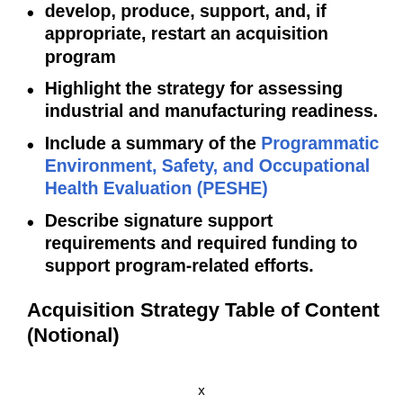develop, produce, support, and, if appropriate, restart an acquisition program
Highlight the strategy for assessing industrial and manufacturing readiness.
Include a summary of the Programmatic Environment, Safety, and Occupational Health Evaluation (PESHE)
Describe signature support requirements and required funding to support program-related efforts.
Acquisition Strategy Table of Content (Notional)
x